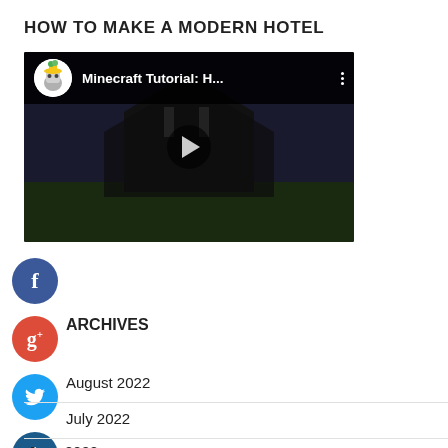HOW TO MAKE A MODERN HOTEL
[Figure (screenshot): Embedded YouTube video thumbnail showing a Minecraft Tutorial with title 'Minecraft Tutorial: H...' and a dark game scene with a play button in the center. Channel avatar visible in top-left corner.]
Facebook social icon button
ARCHIVES
August 2022
July 2022
June 2022